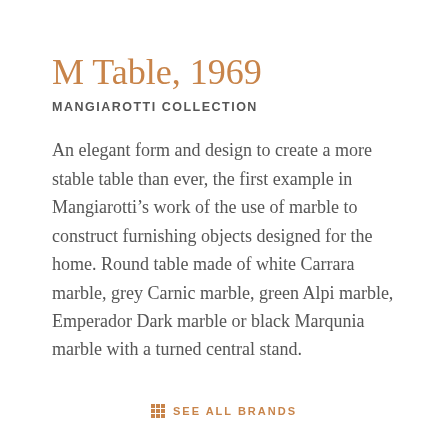M Table, 1969
MANGIAROTTI COLLECTION
An elegant form and design to create a more stable table than ever, the first example in Mangiarotti’s work of the use of marble to construct furnishing objects designed for the home. Round table made of white Carrara marble, grey Carnic marble, green Alpi marble, Emperador Dark marble or black Marqunia marble with a turned central stand.
SEE ALL BRANDS